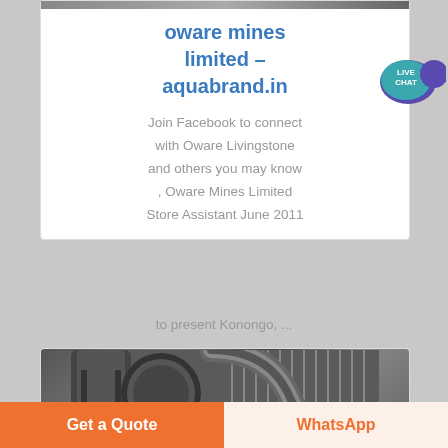oware mines limited – aquabrand.in
Join Facebook to connect with Oware Livingstone and others you may know , Oware Mines Limited Store Assistant June 2011 to present Konongo, ...
[Figure (photo): Industrial pipes and metal ductwork in a mining/industrial facility]
Get a Quote
WhatsApp